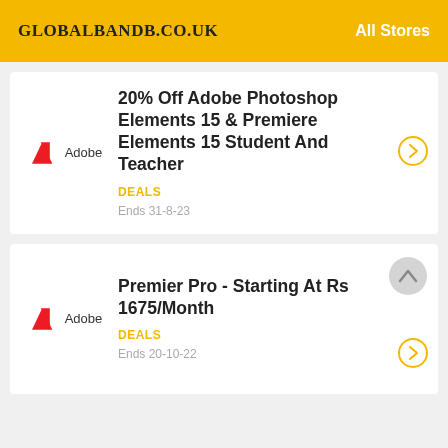GLOBALBANDB.CO.UK | All Stores
20% Off Adobe Photoshop Elements 15 & Premiere Elements 15 Student And Teacher
DEALS
Ends 31-8-23
Premier Pro - Starting At Rs 1675/Month
DEALS
Ends 20-10-22